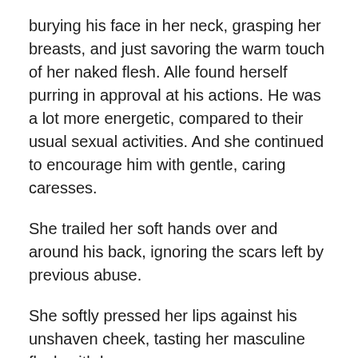burying his face in her neck, grasping her breasts, and just savoring the warm touch of her naked flesh. Alle found herself purring in approval at his actions. He was a lot more energetic, compared to their usual sexual activities. And she continued to encourage him with gentle, caring caresses.
She trailed her soft hands over and around his back, ignoring the scars left by previous abuse.
She softly pressed her lips against his unshaven cheek, tasting her masculine flesh with her sensors.
Even though her tactile sensors hadn't been upgraded, the sensations carried greater meaning than usual. It further excited her emotional cortex. It also evoked additional activity within her body, especially within the synthetic